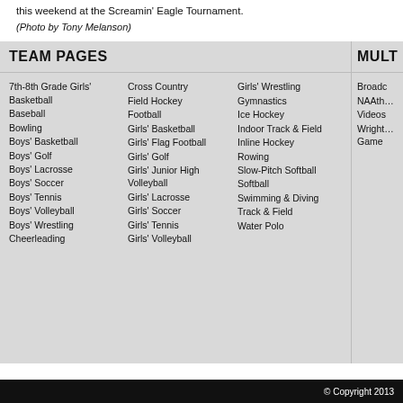this weekend at the Screamin' Eagle Tournament.
(Photo by Tony Melanson)
TEAM PAGES
7th-8th Grade Girls' Basketball
Baseball
Bowling
Boys' Basketball
Boys' Golf
Boys' Lacrosse
Boys' Soccer
Boys' Tennis
Boys' Volleyball
Boys' Wrestling
Cheerleading
Cross Country
Field Hockey
Football
Girls' Basketball
Girls' Flag Football
Girls' Golf
Girls' Junior High Volleyball
Girls' Lacrosse
Girls' Soccer
Girls' Tennis
Girls' Volleyball
Girls' Wrestling
Gymnastics
Ice Hockey
Indoor Track & Field
Inline Hockey
Rowing
Slow-Pitch Softball
Softball
Swimming & Diving
Track & Field
Water Polo
MULT
Broadc
NAAthe
Videos
Wrighta Game
© Copyright 2013